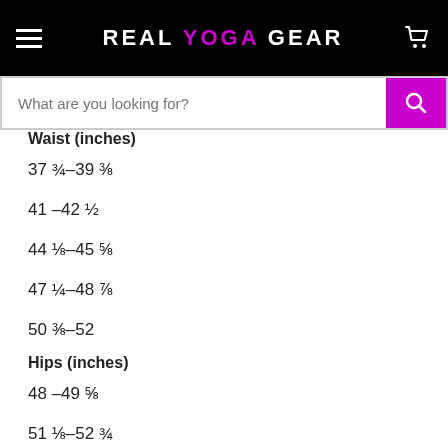REAL YOGA GEAR
Waist (inches)
37 ¾-39 ⅜
41 -42 ½
44 ⅛-45 ⅝
47 ¼-48 ⅞
50 ⅜-52
Hips (inches)
48 -49 ⅝
51 ⅛-52 ¾
54 ¾-55 ¾